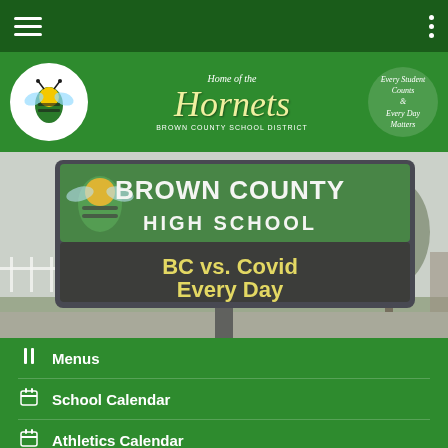[Figure (screenshot): Top navigation bar with hamburger menu icon on left and three-dot menu on right, dark green background]
[Figure (logo): Brown County School District header banner with Hornets mascot logo circle, 'Home of the Hornets' script text, 'Brown County School District' subtitle, and 'Every Student Counts & Every Day Matters' motto on green background]
[Figure (photo): Outdoor photo of Brown County High School LED sign displaying 'BC vs. Covid Every Day' in yellow text on black background, foggy outdoor setting with trees in background]
Menus
School Calendar
Athletics Calendar
Announcements